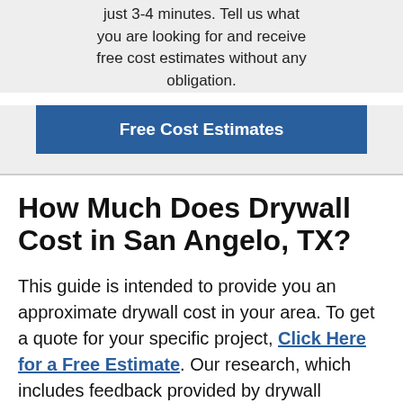just 3-4 minutes. Tell us what you are looking for and receive free cost estimates without any obligation.
[Figure (other): Blue button labeled 'Free Cost Estimates']
How Much Does Drywall Cost in San Angelo, TX?
This guide is intended to provide you an approximate drywall cost in your area. To get a quote for your specific project, Click Here for a Free Estimate. Our research, which includes feedback provided by drywall contractors, resulted in the following sheetrock prices in San Angelo, TX.